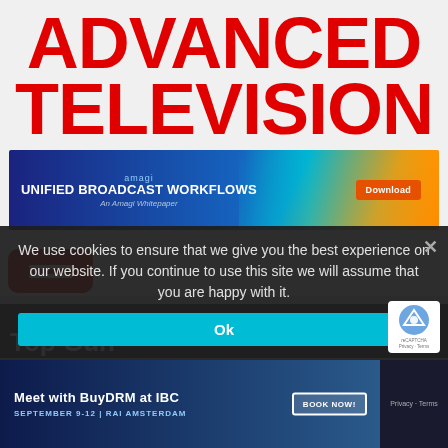ADVANCED TELEVISION
[Figure (screenshot): Amagi advertisement banner: dark blue background with orange/teal light streaks. Text reads 'amagi UNIFIED BROADCAST WORKFLOWS An Amagi Whitepaper' with an orange 'Download' button on the right.]
[Figure (screenshot): Red hamburger menu button (three horizontal white lines on red rounded rectangle background) on a grey navigation bar.]
Top Gun
We use cookies to ensure that we give you the best experience on our website. If you continue to use this site we will assume that you are happy with it.
[Figure (screenshot): BuyDRM advertisement banner: dark blue background with text 'Meet with BuyDRM at IBC' and 'SEPTEMBER 9-12 | RAI AMSTERDAM' with a 'BOOK NOW!' button.]